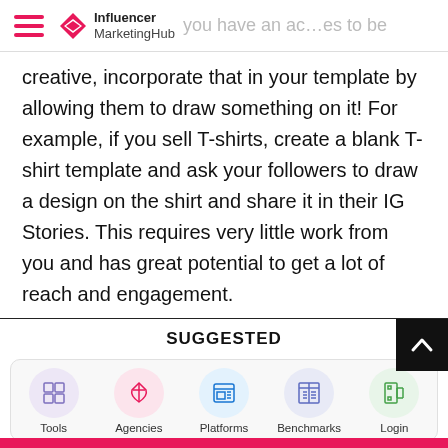Influencer MarketingHub
creative, incorporate that in your template by allowing them to draw something on it! For example, if you sell T-shirts, create a blank T-shirt template and ask your followers to draw a design on the shirt and share it in their IG Stories. This requires very little work from you and has great potential to get a lot of reach and engagement.
SUGGESTED
[Figure (infographic): Bottom navigation bar with 5 icons: Tools (grid icon in purple circle), Agencies (rocket icon in pink circle), Platforms (browser icon in blue circle), Benchmarks (newspaper icon in blue circle), Login (door icon in green circle)]